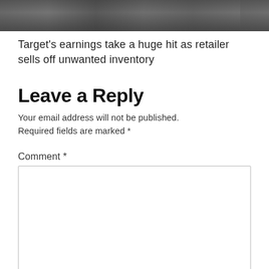[Figure (photo): Photo strip showing people in what appears to be a retail store, darkened/blurred editorial image]
Target's earnings take a huge hit as retailer sells off unwanted inventory
Leave a Reply
Your email address will not be published. Required fields are marked *
Comment *